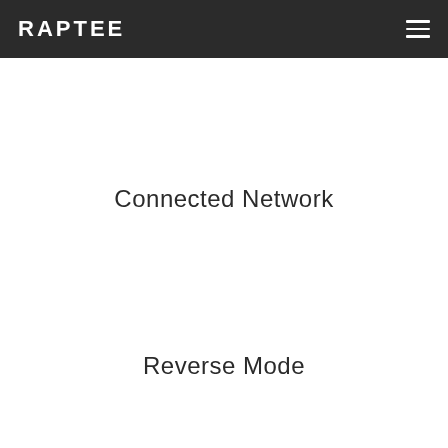RAPTEE
Connected Network
Reverse Mode